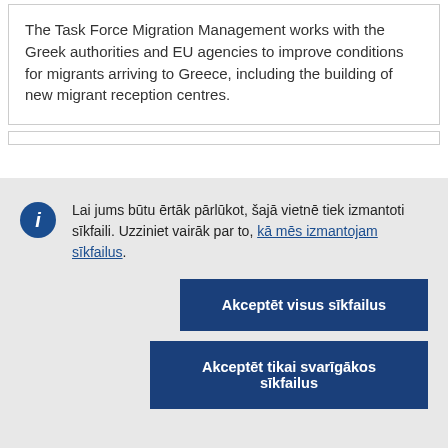The Task Force Migration Management works with the Greek authorities and EU agencies to improve conditions for migrants arriving to Greece, including the building of new migrant reception centres.
Lai jums būtu ērtāk pārlūkot, šajā vietnē tiek izmantoti sīkfaili. Uzziniet vairāk par to, kā mēs izmantojam sīkfailus.
Akceptēt visus sīkfailus
Akceptēt tikai svarīgākos sīkfailus